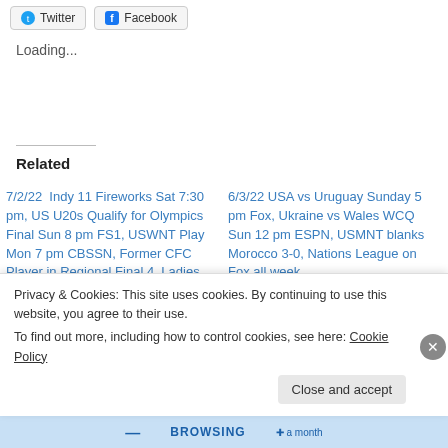[Figure (screenshot): Twitter and Facebook share buttons at the top of the page]
Loading...
Related
7/2/22  Indy 11 Fireworks Sat 7:30 pm, US U20s Qualify for Olympics Final Sun 8 pm FS1, USWNT Play Mon 7 pm CBSSN, Former CFC Player in Regional Final 4, Ladies Euro's Start Wed ESPN
6/3/22 USA vs Uruguay Sunday 5 pm Fox, Ukraine vs Wales WCQ Sun 12 pm ESPN, USMNT blanks Morocco 3-0, Nations League on Fox all week
June 4, 2022
Privacy & Cookies: This site uses cookies. By continuing to use this website, you agree to their use. To find out more, including how to control cookies, see here: Cookie Policy
Close and accept